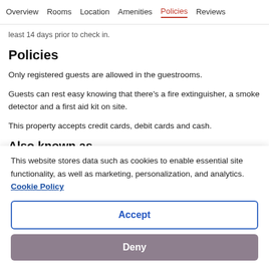Overview  Rooms  Location  Amenities  Policies  Reviews
least 14 days prior to check in.
Policies
Only registered guests are allowed in the guestrooms.
Guests can rest easy knowing that there's a fire extinguisher, a smoke detector and a first aid kit on site.
This property accepts credit cards, debit cards and cash.
Also known as
This website stores data such as cookies to enable essential site functionality, as well as marketing, personalization, and analytics. Cookie Policy
Accept
Deny